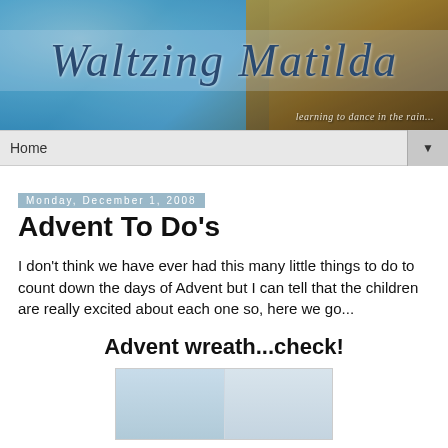[Figure (illustration): Waltzing Matilda blog header banner with water droplets and autumn leaves background, large cursive text 'Waltzing Matilda' and subtitle 'learning to dance in the rain...']
Home
Monday, December 1, 2008
Advent To Do's
I don't think we have ever had this many little things to do to count down the days of Advent but I can tell that the children are really excited about each one so, here we go...
Advent wreath...check!
[Figure (photo): Partially visible photo of what appears to be an interior room with light blue and white walls]